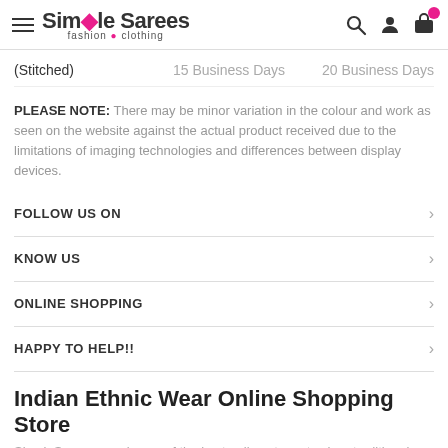Simple Sarees fashion • clothing
(Stitched)    15 Business Days    20 Business Days
PLEASE NOTE: There may be minor variation in the colour and work as seen on the website against the actual product received due to the limitations of imaging technologies and differences between display devices.
FOLLOW US ON
KNOW US
ONLINE SHOPPING
HAPPY TO HELP!!
Indian Ethnic Wear Online Shopping Store
SimpleSarees.com is one of the best online stores to shop traditional